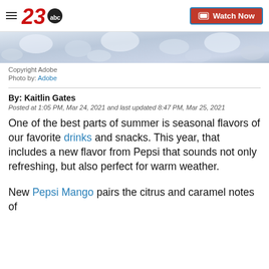23abc — Watch Now
[Figure (photo): Cropped bottom of an image showing ice or crushed ice, light blue-gray tones]
Copyright Adobe
Photo by: Adobe
By: Kaitlin Gates
Posted at 1:05 PM, Mar 24, 2021 and last updated 8:47 PM, Mar 25, 2021
One of the best parts of summer is seasonal flavors of our favorite drinks and snacks. This year, that includes a new flavor from Pepsi that sounds not only refreshing, but also perfect for warm weather.
New Pepsi Mango pairs the citrus and caramel notes of